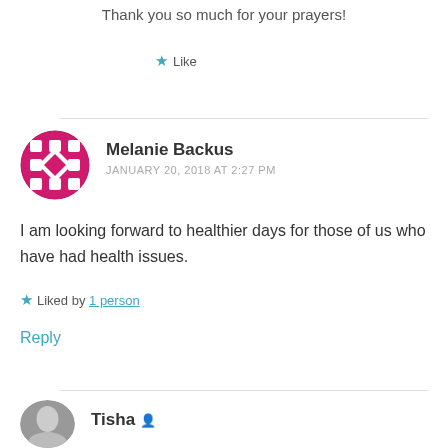Thank you so much for your prayers!
★ Like
Melanie Backus
JANUARY 20, 2018 AT 2:27 PM
I am looking forward to healthier days for those of us who have had health issues.
Liked by 1 person
Reply
Tisha